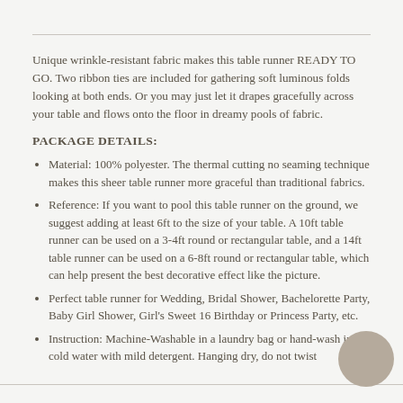Unique wrinkle-resistant fabric makes this table runner READY TO GO. Two ribbon ties are included for gathering soft luminous folds looking at both ends. Or you may just let it drapes gracefully across your table and flows onto the floor in dreamy pools of fabric.
PACKAGE DETAILS:
Material: 100% polyester. The thermal cutting no seaming technique makes this sheer table runner more graceful than traditional fabrics.
Reference: If you want to pool this table runner on the ground, we suggest adding at least 6ft to the size of your table. A 10ft table runner can be used on a 3-4ft round or rectangular table, and a 14ft table runner can be used on a 6-8ft round or rectangular table, which can help present the best decorative effect like the picture.
Perfect table runner for Wedding, Bridal Shower, Bachelorette Party, Baby Girl Shower, Girl's Sweet 16 Birthday or Princess Party, etc.
Instruction: Machine-Washable in a laundry bag or hand-wash in cold water with mild detergent. Hanging dry, do not twist